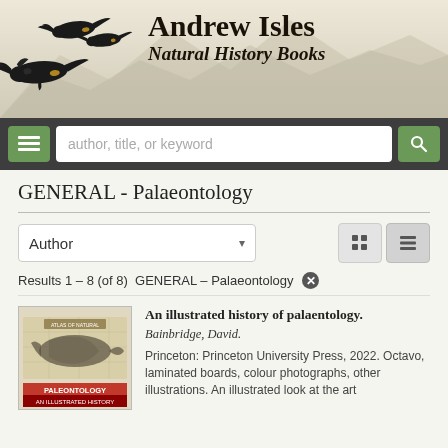[Figure (logo): Andrew Isles Natural History Books header with flying black cockatoos on left and mountain silhouette background]
Andrew Isles
Natural History Books
[Figure (screenshot): Navigation bar with menu button, search input placeholder 'author, title, or keyword', and search button]
GENERAL - Palaeontology
Author (sort dropdown) with grid and list view toggle buttons
Results 1 – 8 (of 8)  GENERAL – Palaeontology ✕
[Figure (photo): Book cover of Paleontology: An Illustrated History showing fossil fish illustration]
An illustrated history of palaentology.
Bainbridge, David.
Princeton: Princeton University Press, 2022. Octavo, laminated boards, colour photographs, other illustrations. An illustrated look at the art